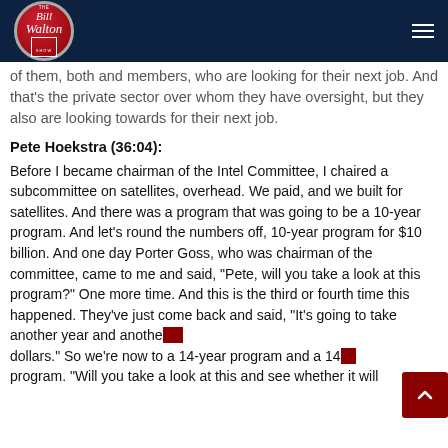The Bill Walton Show
of them, both and members, who are looking for their next job. And that's the private sector over whom they have oversight, but they also are looking towards for their next job.
Pete Hoekstra (36:04):
Before I became chairman of the Intel Committee, I chaired a subcommittee on satellites, overhead. We paid, and we built for satellites. And there was a program that was going to be a 10-year program. And let's round the numbers off, 10-year program for $10 billion. And one day Porter Goss, who was chairman of the committee, came to me and said, "Pete, will you take a look at this program?" One more time. And this is the third or fourth time this happened. They've just come back and said, "It's going to take another year and another billion dollars." So we're now to a 14-year program and a 14-billion program. "Will you take a look at this and see whether it will